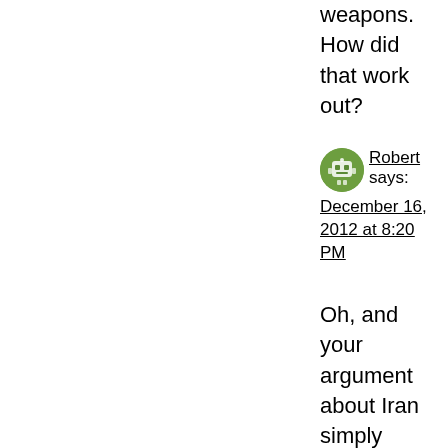weapons. How did that work out?
Robert says: December 16, 2012 at 8:20 PM
Oh, and your argument about Iran simply makes my point. The US doesn't